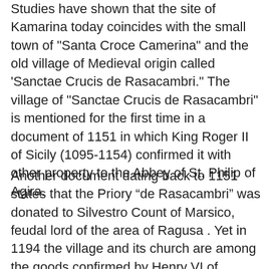Studies have shown that the site of Kamarina today coincides with the small town of "Santa Croce Camerina" and the old village of Medieval origin called 'Sanctae Crucis de Rasacambri." The village of "Sanctae Crucis de Rasacambri" is mentioned for the first time in a document of 1151 in which King Roger II of Sicily (1095-1154) confirmed it with other property to the Abbey of St. Philip of Agira.
Another document dating back to 1151 states that the Priory “de Rasacambri” was donated to Silvestro Count of Marsico, feudal lord of the area of Ragusa . Yet in 1194 the village and its church are among the goods confirmed by Henry VI of Hoenstaufen (1165-1197) to the monastery of S.